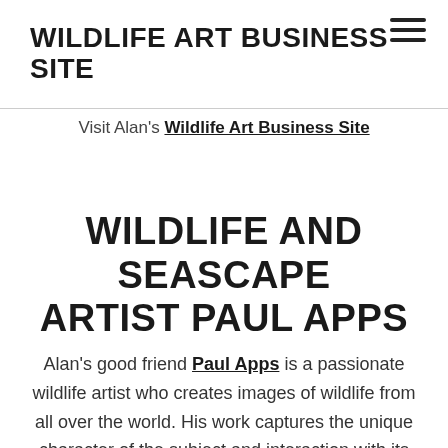WILDLIFE ART BUSINESS SITE
Visit Alan's Wildlife Art Business Site
WILDLIFE AND SEASCAPE ARTIST PAUL APPS
Alan's good friend Paul Apps is a passionate wildlife artist who creates images of wildlife from all over the world. His work captures the unique character of the subject and interaction with its natural environment using the mediums of Oils, Pastels, Acrylic and Graphite. Paul is also a keen